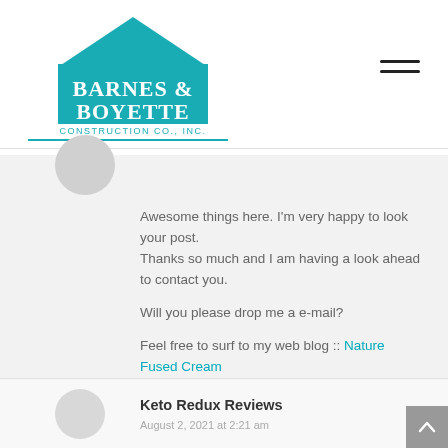[Figure (logo): Barnes & Boyette Construction Co., Inc. teal logo with house/pentagon shape on top]
Awesome things here. I'm very happy to look your post.
Thanks so much and I am having a look ahead to contact you.

Will you please drop me a e-mail?

Feel free to surf to my web blog :: Nature Fused Cream
Keto Redux Reviews